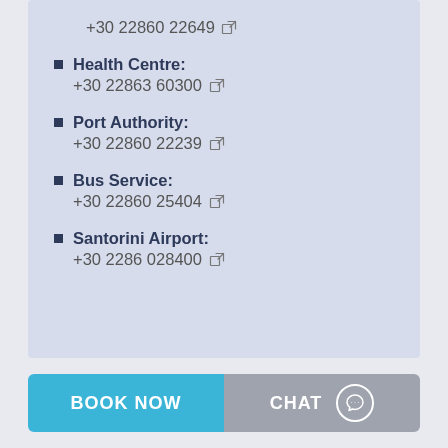+30 22860 22649
Health Centre: +30 22863 60300
Port Authority: +30 22860 22239
Bus Service: +30 22860 25404
Santorini Airport: +30 2286 028400